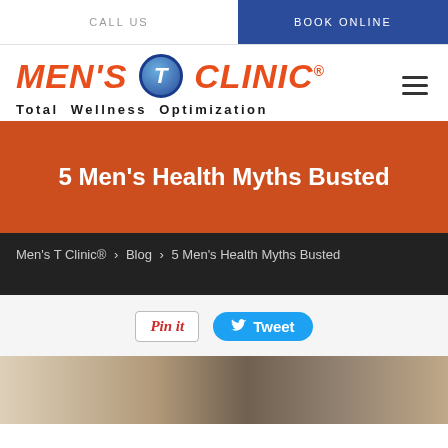CALL US   |   BOOK ONLINE
[Figure (logo): Men's T Clinic logo with orange italic text, blue circle T emblem, and tagline 'Total Wellness Optimization']
5 Men's Health Myths Busted
Men's T Clinic® > Blog > 5 Men's Health Myths Busted
[Figure (other): Social sharing buttons: Pin it button and Tweet button]
[Figure (photo): Partial photo strip at bottom of page showing a person]